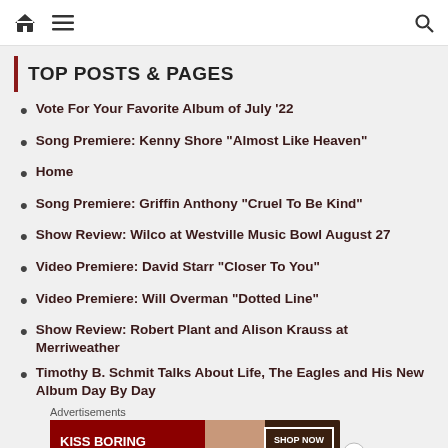Home | Menu | Search
TOP POSTS & PAGES
Vote For Your Favorite Album of July '22
Song Premiere: Kenny Shore "Almost Like Heaven"
Home
Song Premiere: Griffin Anthony "Cruel To Be Kind"
Show Review: Wilco at Westville Music Bowl August 27
Video Premiere: David Starr "Closer To You"
Video Premiere: Will Overman "Dotted Line"
Show Review: Robert Plant and Alison Krauss at Merriweather
Timothy B. Schmit Talks About Life, The Eagles and His New Album Day By Day
Advertisements
[Figure (other): Advertisement banner: KISS BORING LIPS GOODBYE with SHOP NOW button and Macy's logo, featuring a model with red lips]